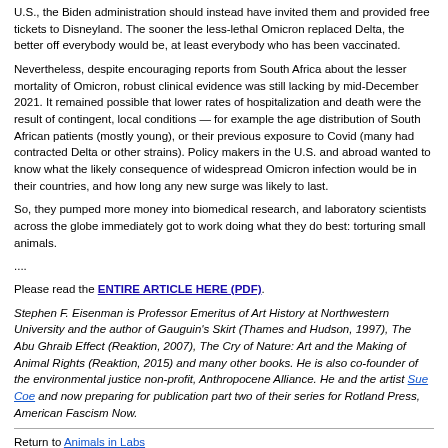U.S., the Biden administration should instead have invited them and provided free tickets to Disneyland. The sooner the less-lethal Omicron replaced Delta, the better off everybody would be, at least everybody who has been vaccinated.
Nevertheless, despite encouraging reports from South Africa about the lesser mortality of Omicron, robust clinical evidence was still lacking by mid-December 2021. It remained possible that lower rates of hospitalization and death were the result of contingent, local conditions — for example the age distribution of South African patients (mostly young), or their previous exposure to Covid (many had contracted Delta or other strains). Policy makers in the U.S. and abroad wanted to know what the likely consequence of widespread Omicron infection would be in their countries, and how long any new surge was likely to last.
So, they pumped more money into biomedical research, and laboratory scientists across the globe immediately got to work doing what they do best: torturing small animals.
....
Please read the ENTIRE ARTICLE HERE (PDF).
Stephen F. Eisenman is Professor Emeritus of Art History at Northwestern University and the author of Gauguin's Skirt (Thames and Hudson, 1997), The Abu Ghraib Effect (Reaktion, 2007), The Cry of Nature: Art and the Making of Animal Rights (Reaktion, 2015) and many other books. He is also co-founder of the environmental justice non-profit, Anthropocene Alliance. He and the artist Sue Coe and now preparing for publication part two of their series for Rotland Press, American Fascism Now.
Return to Animals in Labs
Read more at Alternatives to Animal Testing, Experimentation and Dissection